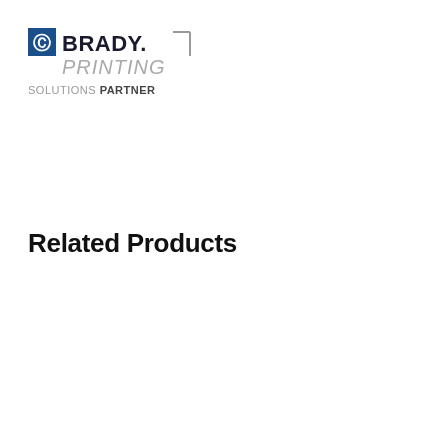[Figure (logo): Brady Printing Solutions Partner logo — blue square icon with white 'C' mark, bold dark text 'BRADY.' with a corner bracket shape, italic gray 'PRINTING' text, and 'SOLUTIONS PARTNER' below in gray with 'PARTNER' in bold dark text]
Related Products